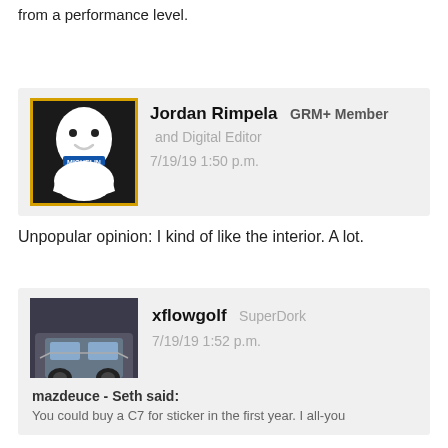from a performance level.
Jordan Rimpela  GRM+ Member  and Digital Editor
7/19/19 1:50 p.m.
Unpopular opinion: I kind of like the interior. A lot.
xflowgolf  SuperDork
7/19/19 1:52 p.m.
mazdeuce - Seth said:
You could buy a C7 for sticker in the first year. I all-you
[Figure (photo): Profile avatar with yellow/gold border showing Michelin Man mascot character]
[Figure (photo): Profile avatar showing a small car image]